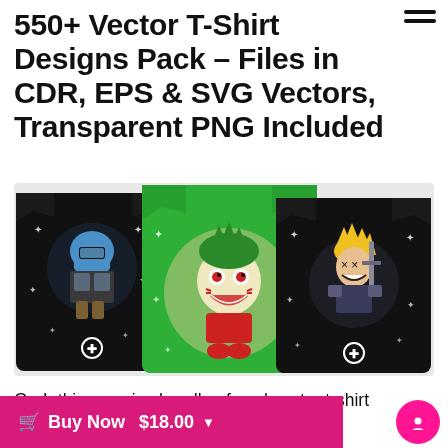550+ Vector T-Shirt Designs Pack – Files in CDR, EPS & SVG Vectors, Transparent PNG Included
[Figure (photo): Three t-shirts displayed: a black t-shirt with a chibi-style Mandalorian character, a green t-shirt with a chibi Joker character, and a black t-shirt with a chibi blonde warrior character.]
Grab this massive bundle of cool vector t-shirt designs featuring 550+ unique illustrations
Buy Now $18.00